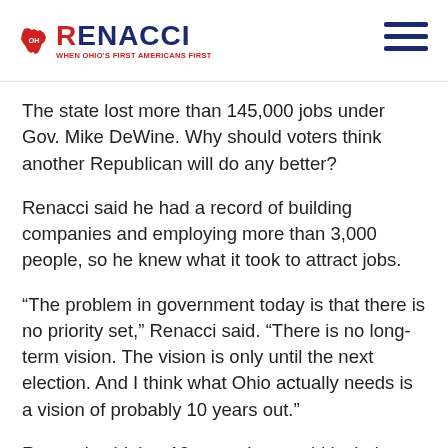RENACCI
The state lost more than 145,000 jobs under Gov. Mike DeWine. Why should voters think another Republican will do any better?
Renacci said he had a record of building companies and employing more than 3,000 people, so he knew what it took to attract jobs.
“The problem in government today is that there is no priority set,” Renacci said. “There is no long-term vision. The vision is only until the next election. And I think what Ohio actually needs is a vision of probably 10 years out.”
Renacci said that 10-year plan would include making